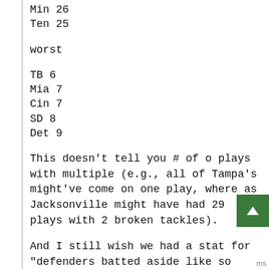Min 26
Ten 25
worst
TB 6
Mia 7
Cin 7
SD 8
Det 9
This doesn't tell you # of o plays with multiple (e.g., all of Tampa's might've come on one play, where as Jacksonville might have had 29 plays with 2 broken tackles).
And I still wish we had a stat for "defenders batted aside like so many ants".